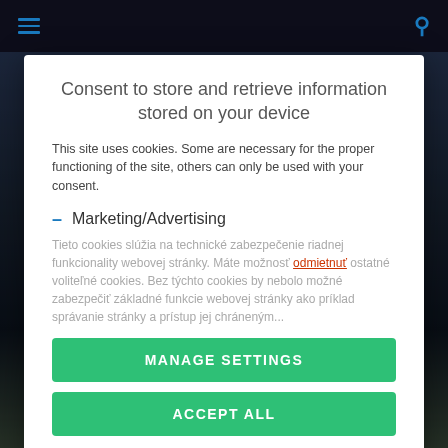[Figure (screenshot): Dark navigation bar with hamburger menu icon on left and search icon on right, both in blue]
Consent to store and retrieve information stored on your device
This site uses cookies. Some are necessary for the proper functioning of the site, others can only be used with your consent.
Marketing/Advertising
Tieto cookies slúžia na technické zabezpečenie riadnej funkcionality webovej stránky. Máte možnosť odmietnuť ostatné voliteľné cookies. Bez týchto cookies by nebolo možné zabezpečiť základné funkcie webovej stránky ako príklad správanie stránky a prístup jej chráneným...
MANAGE SETTINGS
ACCEPT ALL